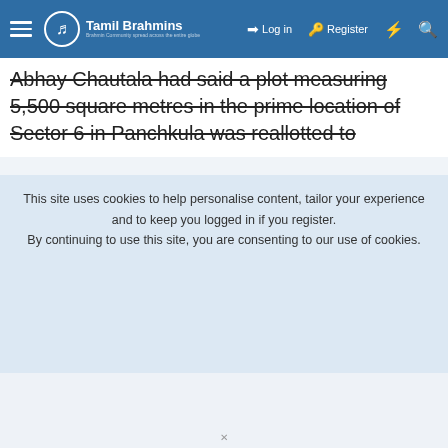Tamil Brahmins — Log in | Register
Abhay Chautala had said a plot measuring 5,500 square metres in the prime location of Sector 6 in Panchkula was reallotted to
This site uses cookies to help personalise content, tailor your experience and to keep you logged in if you register.
By continuing to use this site, you are consenting to our use of cookies.